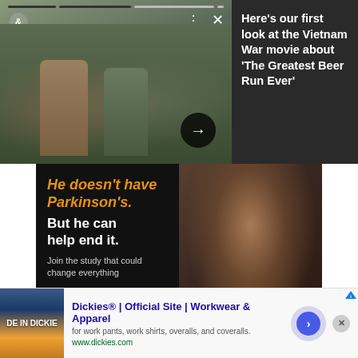[Figure (screenshot): Video promo card showing two soldiers in Vietnam War scene with progress bar and close button, alongside dark panel with article headline]
Here's our first look at the Vietnam War movie about 'The Greatest Beer Run Ever'
[Figure (photo): Advertisement: Parkinson's research study with close-up of man's face. Text: 'He doesn't have Parkinson's. But he can help end it. Join the study that could change everything. GET STARTED']
[Figure (screenshot): Dickies banner advertisement: 'Dickies® | Official Site | Workwear & Apparel - for work pants, work shirts, overalls, and coveralls. www.dickies.com']